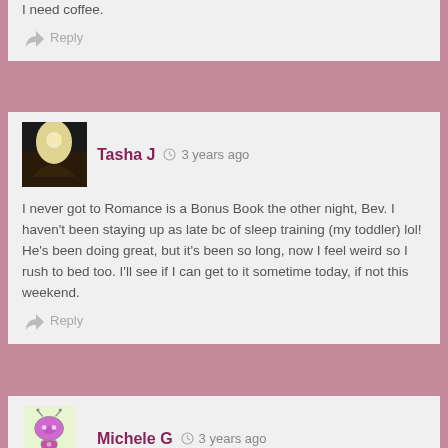I need coffee.
Reply
Tasha J  3 years ago
I never got to Romance is a Bonus Book the other night, Bev. I haven't been staying up as late bc of sleep training (my toddler) lol! He's been doing great, but it's been so long, now I feel weird so I rush to bed too. I'll see if I can get to it sometime today, if not this weekend.
Reply
Michele G  3 years ago